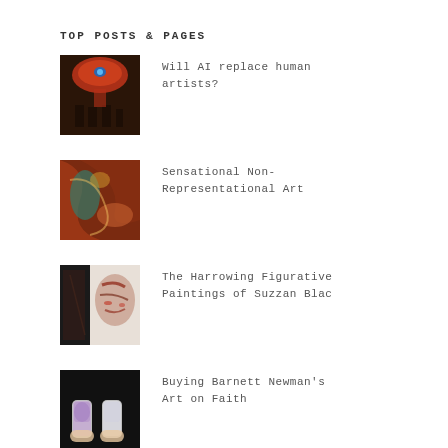TOP POSTS & PAGES
[Figure (photo): Dark surreal painting with glowing red alien/mushroom form and shadowy figures below in dark brown/maroon tones]
Will AI replace human artists?
[Figure (photo): Abstract non-representational art painting with organic, flowing forms in red, brown, and teal colors]
Sensational Non-Representational Art
[Figure (photo): Close-up figurative painting of a face with dark, harrowing expressionistic style in reds and grays]
The Harrowing Figurative Paintings of Suzzan Blac
[Figure (photo): Photograph of two hands holding small glowing purple/white cylindrical objects against a dark background]
Buying Barnett Newman's Art on Faith